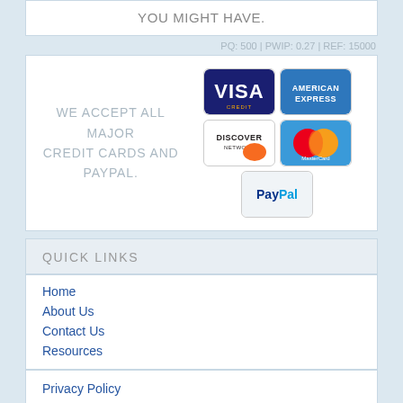YOU MIGHT HAVE.
PQ: 500 | PWIP: 0.27 | REF: 15000
WE ACCEPT ALL MAJOR CREDIT CARDS AND PAYPAL.
[Figure (logo): Payment method logos: Visa, American Express, Discover Network, MasterCard, PayPal]
QUICK LINKS
Home
About Us
Contact Us
Resources
Privacy Policy
Terms & Conditions
Return Policy
Frequently Asked Questions